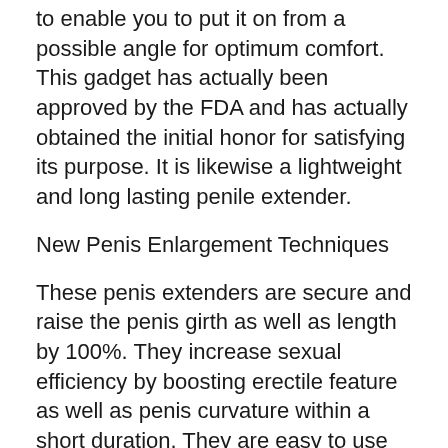to enable you to put it on from a possible angle for optimum comfort. This gadget has actually been approved by the FDA and has actually obtained the initial honor for satisfying its purpose. It is likewise a lightweight and long lasting penile extender.
New Penis Enlargement Techniques
These penis extenders are secure and raise the penis girth as well as length by 100%. They increase sexual efficiency by boosting erectile feature as well as penis curvature within a short duration. They are easy to use as well as really reliable. You must recognize that penile extenders are utilized to extend the penile cells as well as cells and improve growth by fixing and also generating brand-